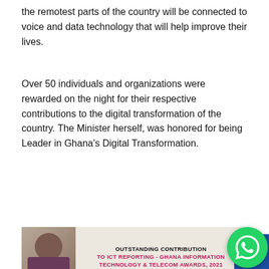the remotest parts of the country will be connected to voice and data technology that will help improve their lives.
Over 50 individuals and organizations were rewarded on the night for their respective contributions to the digital transformation of the country. The Minister herself, was honored for being Leader in Ghana's Digital Transformation.
[Figure (photo): Banner image showing a person holding a trophy with text: OUTSTANDING CONTRIBUTION TO ICT REPORTING - GHANA INFORMATION TECHNOLOGY & TELECOM AWARDS, 2021]
TAGS
Digital Inclusion
Digital Infrastructure
expats
fourth industrial revolution
GITTA
Ursula Owusu-Ekuful
[Figure (infographic): Social share buttons: share icon, Facebook, Twitter, Pinterest, WhatsApp]